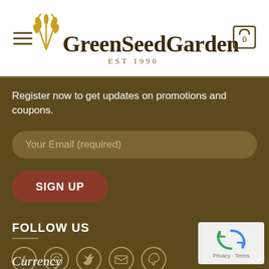GreenSeedGarden EST 1990
Register now to get updates on promotions and coupons.
Your Email (required)
SIGN UP
FOLLOW US
[Figure (illustration): Social media icons: Facebook, Instagram, Twitter, Email, Pinterest in circle outlines]
Currency